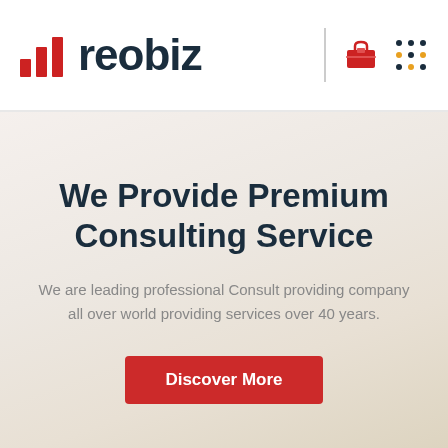[Figure (logo): Reobiz logo with red bar chart icon and dark blue text 'reobiz', plus a red briefcase icon and a dot-grid menu icon on the right]
We Provide Premium Consulting Service
We are leading professional Consult providing company all over world providing services over 40 years.
Discover More